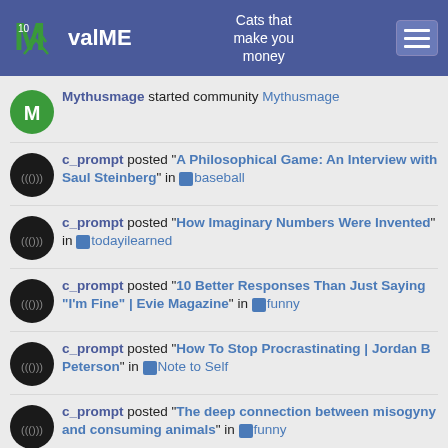valME — Cats that make you money
Mythusmage started community Mythusmage
c_prompt posted "A Philosophical Game: An Interview with Saul Steinberg" in baseball
c_prompt posted "How Imaginary Numbers Were Invented" in todayilearned
c_prompt posted "10 Better Responses Than Just Saying "I'm Fine" | Evie Magazine" in funny
c_prompt posted "How To Stop Procrastinating | Jordan B Peterson" in Note to Self
c_prompt posted "The deep connection between misogyny and consuming animals" in funny
c_prompt flagged "Cryptocurrency Exchange List" in